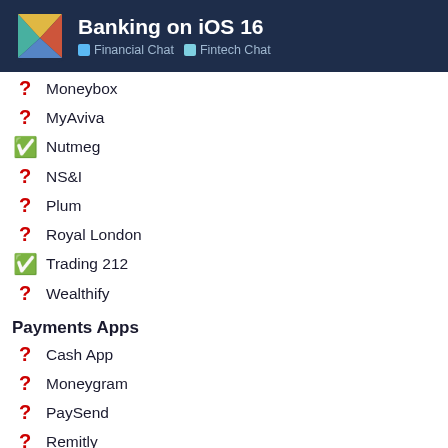Banking on iOS 16 | Financial Chat | Fintech Chat
❓ Moneybox
❓ MyAviva
✅ Nutmeg
❓ NS&I
❓ Plum
❓ Royal London
✅ Trading 212
❓ Wealthify
Payments Apps
❓ Cash App
❓ Moneygram
❓ PaySend
❓ Remitly
✅ Wise (formerly TransferWise)
❓ WorldRemit
❓ XE Currency & Money Transfers
Money Management Apps
1 / 128